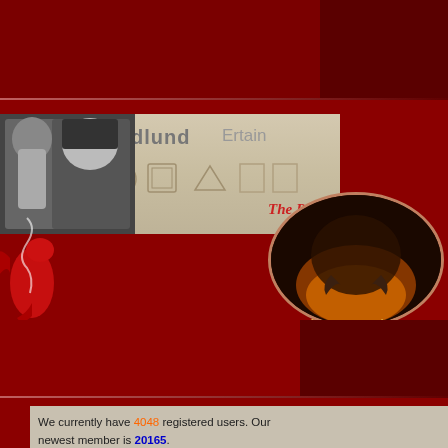[Figure (screenshot): Red Dragon Inn website screenshot. Top section has dark red background with banner. Banner shows wizard and woman portraits, Goodlund and Ertain text labels, geometric symbols, The Red Dragon Inn title text in red italic, a dragon oval medallion, and Adventure Awaits tagline in gold italic. Bottom section contains a gray info box with member statistics and Latest Updated Topics section.]
We currently have 4048 registered users. Our newest member is 20165.
Latest Updated Topics  [mo